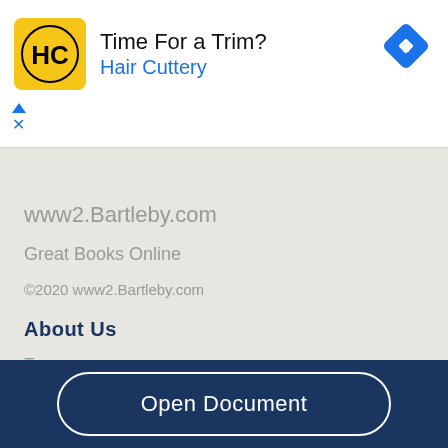[Figure (infographic): Advertisement banner for Hair Cuttery with yellow HC logo, text 'Time For a Trim?' and 'Hair Cuttery' in blue, blue diamond navigation arrow on right, ad controls (triangle and X) on lower left]
www2.Bartleby.com
Great Books Online
©2020 www2.Bartleby.com
About Us
Terms
Privacy
Copyright
Open Document